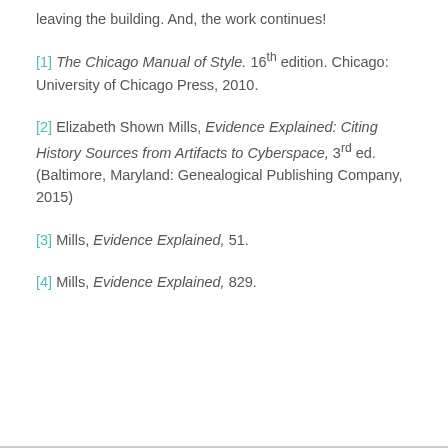leaving the building.  And, the work continues!
[1] The Chicago Manual of Style.  16th edition.  Chicago: University of Chicago Press, 2010.
[2] Elizabeth Shown Mills, Evidence Explained: Citing History Sources from Artifacts to Cyberspace, 3rd ed. (Baltimore, Maryland: Genealogical Publishing Company, 2015)
[3] Mills, Evidence Explained,  51.
[4] Mills, Evidence Explained, 829.